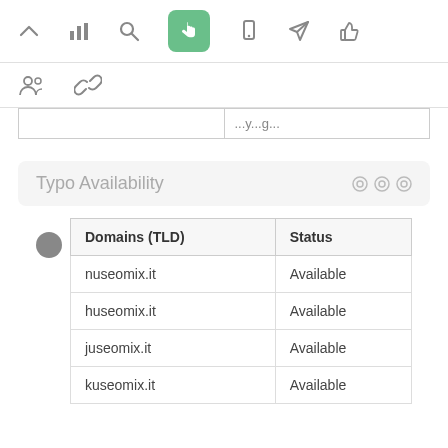[Figure (screenshot): Top navigation bar with icons: chevron up, bar chart, search, hand pointer (active/green), mobile, rocket/send, thumbs up]
[Figure (screenshot): Second navigation row with group/users icon and chain link icon]
|  | ...y...g... |
| --- | --- |
|  |
Typo Availability
| Domains (TLD) | Status |
| --- | --- |
| nuseomix.it | Available |
| huseomix.it | Available |
| juseomix.it | Available |
| kuseomix.it | Available |